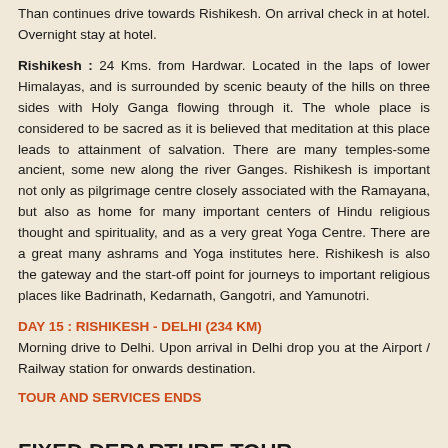Than continues drive towards Rishikesh. On arrival check in at hotel. Overnight stay at hotel.
Rishikesh : 24 Kms. from Hardwar. Located in the laps of lower Himalayas, and is surrounded by scenic beauty of the hills on three sides with Holy Ganga flowing through it. The whole place is considered to be sacred as it is believed that meditation at this place leads to attainment of salvation. There are many temples-some ancient, some new along the river Ganges. Rishikesh is important not only as pilgrimage centre closely associated with the Ramayana, but also as home for many important centers of Hindu religious thought and spirituality, and as a very great Yoga Centre. There are a great many ashrams and Yoga institutes here. Rishikesh is also the gateway and the start-off point for journeys to important religious places like Badrinath, Kedarnath, Gangotri, and Yamunotri.
DAY 15 : RISHIKESH - DELHI (234 KM)
Morning drive to Delhi. Upon arrival in Delhi drop you at the Airport / Railway station for onwards destination.
TOUR AND SERVICES ENDS
FIXED DEPARTURE TOUR
Char Dham Tour Packages